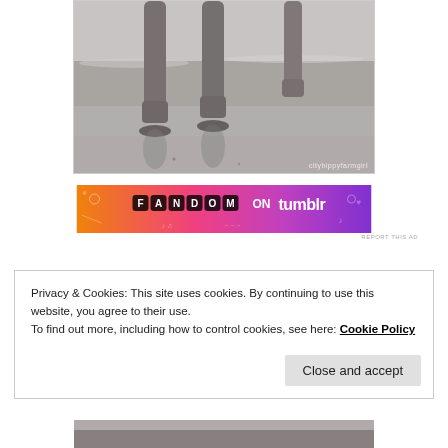[Figure (photo): Black and white photo of adult and child feet/legs walking on wet beach sand near water, with reflections visible. Watermark reads 'cityhippyfarmgirl' in bottom right.]
[Figure (other): Fandom on Tumblr advertisement banner with orange-to-purple gradient and decorative doodles. Text reads 'FANDOM ON tumblr'.]
REPORT THIS AD
Privacy & Cookies: This site uses cookies. By continuing to use this website, you agree to their use.
To find out more, including how to control cookies, see here: Cookie Policy
Close and accept
[Figure (photo): Partial bottom portion of another black and white beach photo visible at the bottom edge of the page.]